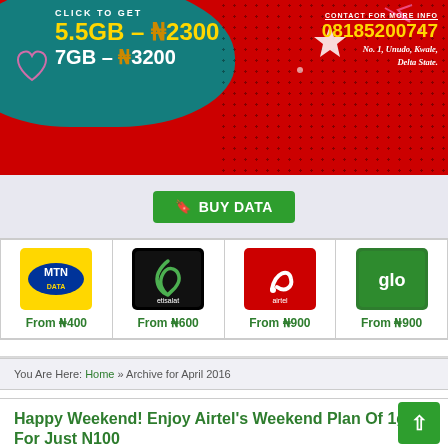[Figure (photo): Promotional banner ad for data plans: 5.5GB - ₦2300, 7GB - ₦3200. Contact 08185200747, No. 1, Unudo, Kwale, Delta State.]
🔖 BUY DATA
[Figure (logo): MTN Data logo - yellow square with blue oval MTN logo and DATA text]
From ₦400
[Figure (logo): Etisalat logo - black square with green etisalat brand mark]
From ₦600
[Figure (logo): Airtel logo - red square with white Airtel brand mark]
From ₦900
[Figure (logo): Glo logo - green square with white glo text]
From ₦900
You Are Here: Home » Archive for April 2016
Happy Weekend! Enjoy Airtel's Weekend Plan Of 1gb For Just N100
GIDEON KACHI   APRIL 30, 2016   13 COMMENTS
This wonderful airtel weekend plan has been existing for quite a time, probably since last year. But the discouraging and tiring part of